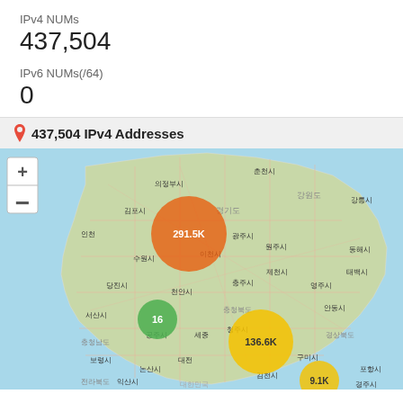IPv4 NUMs
437,504
IPv6 NUMs(/64)
0
[Figure (map): Map of South Korea showing IPv4 address distribution with heat bubbles. Seoul/Gyeonggi area: 291.5K (orange/red bubble), central region near Daejeon: 136.6K (yellow bubble), Chungcheongnam-do area: 16 (green bubble), southern region: 9.1K (yellow bubble). Map includes Korean city labels such as 의정부시, 춘천시, 강원도, 강릉시, 김포시, 경기도, 동해시, 광주시, 수원시, 이천시, 원주시, 태백시, 제천시, 충주시, 영주시, 당진시, 천안시, 안동시, 서산시, 충청북도, 경상북도, 공주시, 세종, 청주시, 보령시, 대전, 구미시, 포항시, 논산시, 김천시, 익산시, 전라북도, 대한민국, 경주시.]